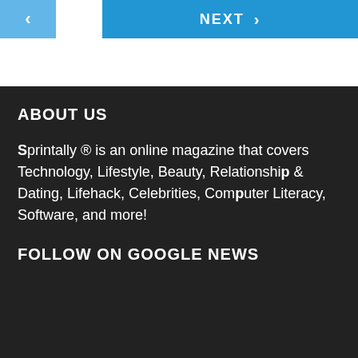[Figure (screenshot): Navigation bar with previous (left arrow) button in light blue and NEXT button with right arrow in darker blue]
ABOUT US
Sprintally ® is an online magazine that covers Technology, Lifestyle, Beauty, Relationship & Dating, Lifehack, Celebrities, Computer Literacy, Software, and more!
FOLLOW ON GOOGLE NEWS